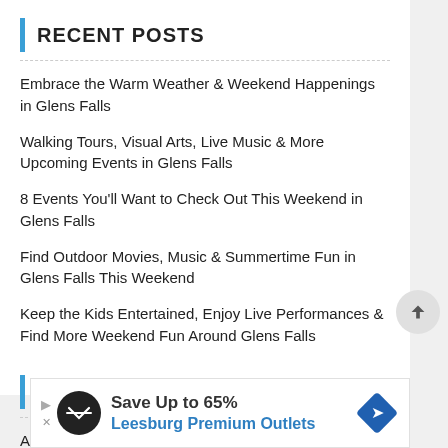RECENT POSTS
Embrace the Warm Weather & Weekend Happenings in Glens Falls
Walking Tours, Visual Arts, Live Music & More Upcoming Events in Glens Falls
8 Events You'll Want to Check Out This Weekend in Glens Falls
Find Outdoor Movies, Music & Summertime Fun in Glens Falls This Weekend
Keep the Kids Entertained, Enjoy Live Performances & Find More Weekend Fun Around Glens Falls
CATEGORIES
Arts
Business
[Figure (infographic): Advertisement banner: Save Up to 65% Leesburg Premium Outlets]